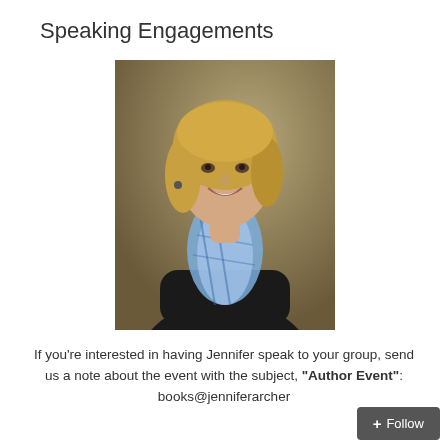Speaking Engagements
[Figure (photo): Professional portrait photo of a smiling woman with blonde hair wearing a black top and a blue plaid scarf, standing with arms crossed against a neutral background]
If you're interested in having Jennifer speak to your group, send us a note about the event with the subject, "Author Event": books@jenniferarcher